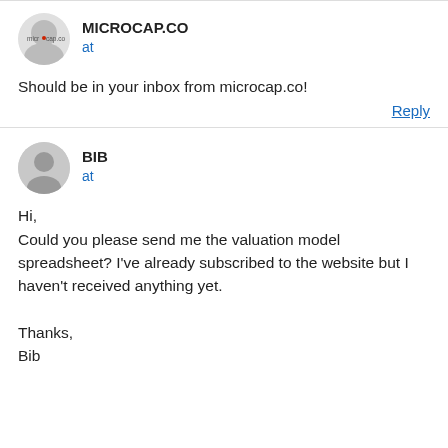[Figure (logo): Microcap.co logo - circular avatar with microcap logo]
MICROCAP.CO
at
Should be in your inbox from microcap.co!
Reply
[Figure (illustration): Generic user avatar - grey circle with person silhouette]
BIB
at
Hi,
Could you please send me the valuation model spreadsheet? I've already subscribed to the website but I haven't received anything yet.

Thanks,
Bib